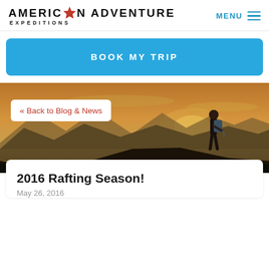AMERICAN ADVENTURE EXPEDITIONS  MENU
BOOK MY TRIP
[Figure (photo): Hiker with backpack looking out over a mountain valley at sunset/dusk with warm orange and golden sky]
« Back to Blog & News
2016 Rafting Season!
May 26, 2016